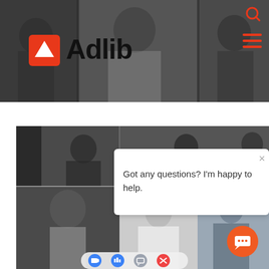[Figure (screenshot): Adlib website header screenshot showing a black-and-white photo of office workers with the Adlib logo (orange square with white triangle/arrow icon and bold black text 'Adlib') overlaid. A red search icon and red hamburger menu icon appear in the top-right corner.]
[Figure (screenshot): Screenshot of a video call interface showing multiple participants in a grid layout (black-and-white style), with a white chat popup overlay showing an X close button and the text 'Got any questions? I'm happy to help.' An orange circular chat button appears in the bottom-right, and control buttons (blue, blue, grey, red) appear at the bottom center.]